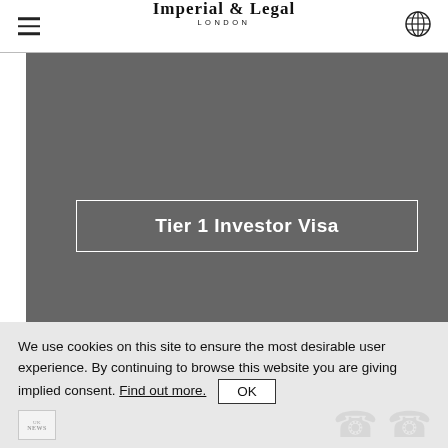Imperial & Legal London
[Figure (illustration): Dark grey hero image banner with white bordered box containing the text 'Tier 1 Investor Visa' in white bold sans-serif font]
Tier 1 Investor Visa
We use cookies on this site to ensure the most desirable user experience. By continuing to browse this website you are giving implied consent. Find out more. OK